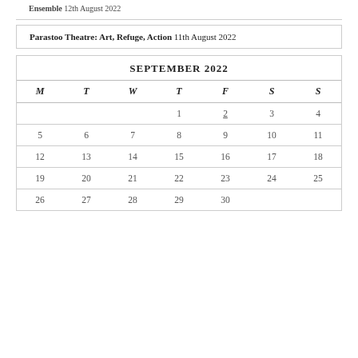Ensemble 12th August 2022
Parastoo Theatre: Art, Refuge, Action 11th August 2022
SEPTEMBER 2022
| M | T | W | T | F | S | S |
| --- | --- | --- | --- | --- | --- | --- |
|  |  |  | 1 | 2 | 3 | 4 |
| 5 | 6 | 7 | 8 | 9 | 10 | 11 |
| 12 | 13 | 14 | 15 | 16 | 17 | 18 |
| 19 | 20 | 21 | 22 | 23 | 24 | 25 |
| 26 | 27 | 28 | 29 | 30 |  |  |